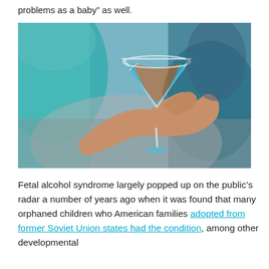problems as a baby" as well.
[Figure (photo): A person's hand holding a martini glass with a blue/orange cocktail drink, with a blurred background showing teal clothing.]
Fetal alcohol syndrome largely popped up on the public’s radar a number of years ago when it was found that many orphaned children who American families adopted from former Soviet Union states had the condition, among other developmental